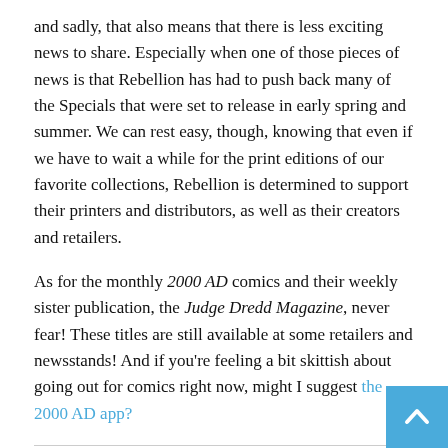and sadly, that also means that there is less exciting news to share. Especially when one of those pieces of news is that Rebellion has had to push back many of the Specials that were set to release in early spring and summer. We can rest easy, though, knowing that even if we have to wait a while for the print editions of our favorite collections, Rebellion is determined to support their printers and distributors, as well as their creators and retailers.
As for the monthly 2000 AD comics and their weekly sister publication, the Judge Dredd Magazine, never fear! These titles are still available at some retailers and newsstands! And if you're feeling a bit skittish about going out for comics right now, might I suggest the 2000 AD app?
AND SO WE'VE REACHED THE END OF OUR TIME TOGETHER, EARTHLETS